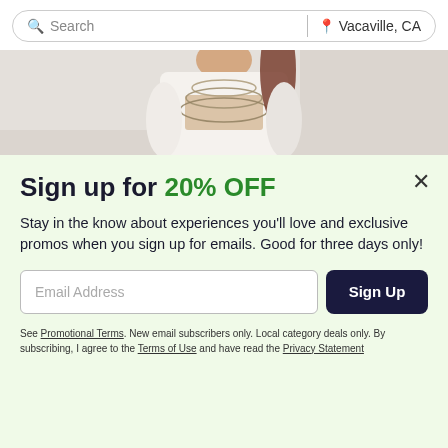Search | Vacaville, CA
[Figure (photo): Person wearing a white and beige sweater with layered necklaces, torso visible]
Sign up for 20% OFF
Stay in the know about experiences you'll love and exclusive promos when you sign up for emails. Good for three days only!
Email Address  Sign Up
See Promotional Terms. New email subscribers only. Local category deals only. By subscribing, I agree to the Terms of Use and have read the Privacy Statement